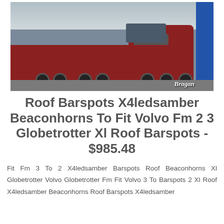[Figure (photo): A red Volvo FH truck with low-loader trailer parked on a lot, with 'Bragan' watermark in bottom right corner]
Roof Barspots X4ledsamber Beaconhorns To Fit Volvo Fm 2 3 Globetrotter Xl Roof Barspots - $985.48
Fit Fm 3 To 2 X4ledsamber Barspots Roof Beaconhorns Xl Globetrotter Volvo Globetrotter Fm Fit Volvo 3 To Barspots 2 Xl Roof X4ledsamber Beaconhorns Roof Barspots X4ledsamber